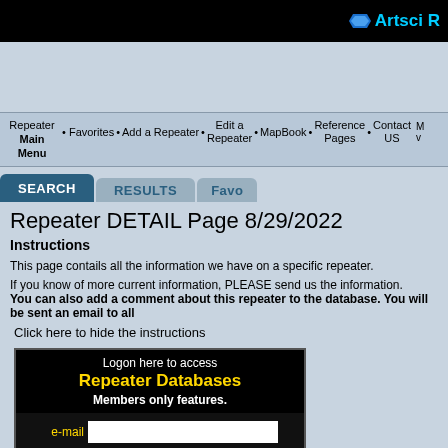Artsci R
[Figure (screenshot): Navigation bar with links: Repeater Main Menu, Favorites, Add a Repeater, Edit a Repeater, MapBook, Reference Pages, Contact US]
[Figure (screenshot): Tab row with SEARCH (active), RESULTS, Favo tabs]
Repeater DETAIL Page 8/29/2022
Instructions
This page contails all the information we have on a specific repeater.
If you know of more current information, PLEASE send us the information.
You can also add a comment about this repeater to the database. You will be sent an email to all
Click here to hide the instructions
[Figure (screenshot): Login box: Logon here to access Repeater Databases Members only features. Fields for e-mail and password. PayPal Join now button and Submit button.]